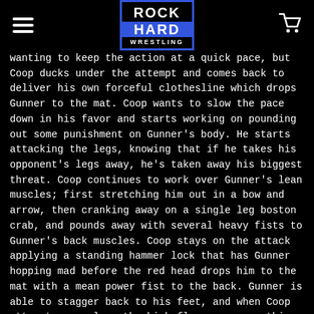ROCK HARD WRESTLING
wanting to keep the action at a quick pace, but Coop ducks under the attempt and comes back to deliver his own forceful clothesline which drops Gunner to the mat. Coop wants to slow the pace down in his favor and starts working on pounding out some punishment on Gunner's body. He starts attacking the legs, knowing that if he takes his opponent's legs away, he's taken away his biggest threat. Coop continues to work over Gunner's lean muscles; first stretching him out in a bow and arrow, then cranking away on a single leg boston crab, and pounds away with several heavy fists to Gunner's back muscles. Coop stays on the attack applying a standing hammer lock that has Gunner hopping mad before the red head drops him to the mat with a mean power fist to the back. Gunner is able to stagger back to his feet, and when Coop attempts a suplex, the high flyer reverses things and is able to lift Coop up a plant him face first into the mat. Gunner regains the control and attacks with a flying knee off the ropes to the small of